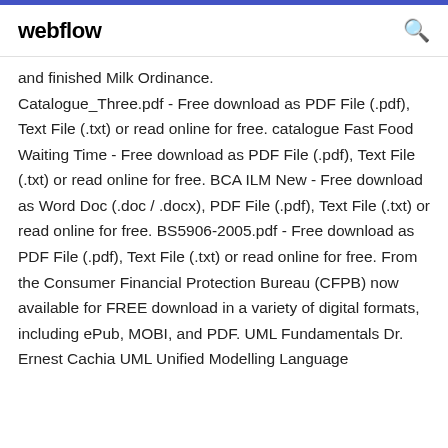webflow
and finished Milk Ordinance. Catalogue_Three.pdf - Free download as PDF File (.pdf), Text File (.txt) or read online for free. catalogue Fast Food Waiting Time - Free download as PDF File (.pdf), Text File (.txt) or read online for free. BCA ILM New - Free download as Word Doc (.doc / .docx), PDF File (.pdf), Text File (.txt) or read online for free. BS5906-2005.pdf - Free download as PDF File (.pdf), Text File (.txt) or read online for free. From the Consumer Financial Protection Bureau (CFPB) now available for FREE download in a variety of digital formats, including ePub, MOBI, and PDF. UML Fundamentals Dr. Ernest Cachia UML Unified Modelling Language